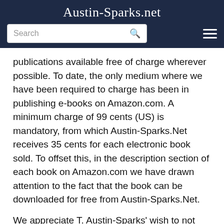Austin-Sparks.net
publications available free of charge wherever possible. To date, the only medium where we have been required to charge has been in publishing e-books on Amazon.com. A minimum charge of 99 cents (US) is mandatory, from which Austin-Sparks.Net receives 35 cents for each electronic book sold. To offset this, in the description section of each book on Amazon.com we have drawn attention to the fact that the book can be downloaded for free from Austin-Sparks.Net.
We appreciate T. Austin-Sparks' wish to not copyright his messages; this has